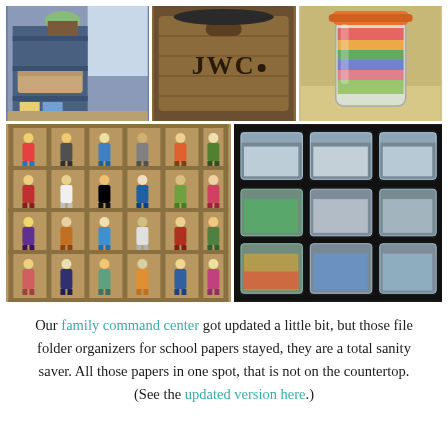[Figure (photo): Grid of 5 photos showing storage and organization ideas: a blue shelving unit with baskets, a wooden crate labeled JWC, a glass jar with colorful contents and orange lid, a wooden shelf unit with Lego minifigures displayed, and black cube storage with clear plastic bins containing Lego pieces.]
Our family command center got updated a little bit, but those file folder organizers for school papers stayed, they are a total sanity saver. All those papers in one spot, that is not on the countertop. (See the updated version here.)